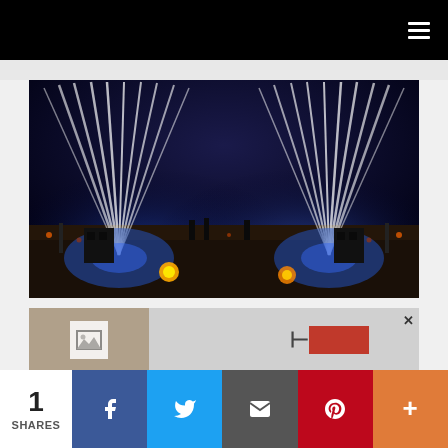Navigation bar with hamburger menu icon
[Figure (photo): Concert stage with dramatic white light beams fanning up from two sides against a deep blue/dark sky background. Stage has performers, equipment, blue and yellow/orange accent lights on the floor.]
[Figure (photo): Partial advertisement banner showing a thumbnail image on left and UI elements including a T-shaped icon and a red button on right, with an X close button.]
1 SHARES
Share buttons: Facebook, Twitter, Email, Pinterest, More